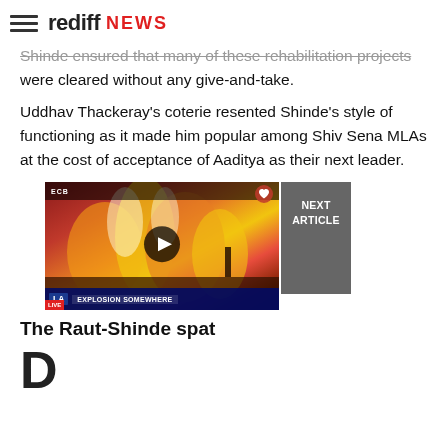rediff NEWS
Shinde ensured that many of these rehabilitation projects were cleared without any give-and-take.
Uddhav Thackeray's coterie resented Shinde's style of functioning as it made him popular among Shiv Sena MLAs at the cost of acceptance of Aaditya as their next leader.
[Figure (screenshot): Video thumbnail showing a large fire/blaze scene with a play button overlay, news ticker bar at bottom, and NEXT ARTICLE button on the right.]
The Raut-Shinde spat
D